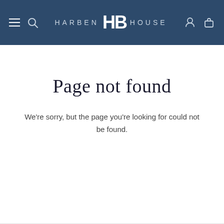HARBEN HB HOUSE
Page not found
We're sorry, but the page you're looking for could not be found.